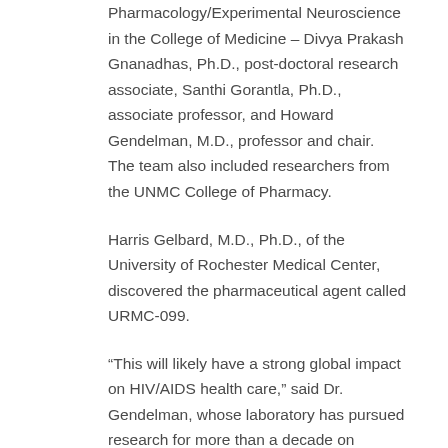Pharmacology/Experimental Neuroscience in the College of Medicine – Divya Prakash Gnanadhas, Ph.D., post-doctoral research associate, Santhi Gorantla, Ph.D., associate professor, and Howard Gendelman, M.D., professor and chair.  The team also included researchers from the UNMC College of Pharmacy.
Harris Gelbard, M.D., Ph.D., of the University of Rochester Medical Center, discovered the pharmaceutical agent called URMC-099.
“This will likely have a strong global impact on HIV/AIDS health care,” said Dr. Gendelman, whose laboratory has pursued research for more than a decade on LASER ART. “Getting people to take medication every day is difficult. To be able to take medication once a month or even longer will make it much easier for patients to be compliant while at the same time help bring the drug to